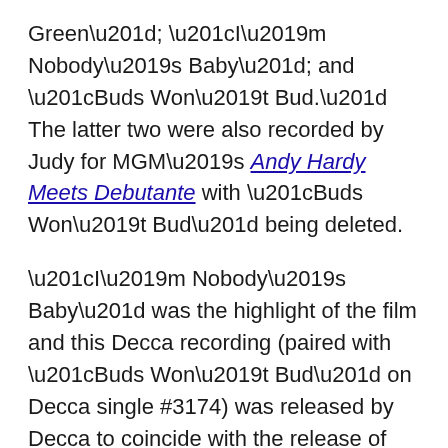Green"; “I’m Nobody’s Baby”; and “Buds Won’t Bud.” The latter two were also recorded by Judy for MGM’s Andy Hardy Meets Debutante with “Buds Won’t Bud” being deleted.
“I’m Nobody’s Baby” was the highlight of the film and this Decca recording (paired with “Buds Won’t Bud” on Decca single #3174) was released by Decca to coincide with the release of the film. What’s interesting is that “I’m Nobody’s Baby” was the “B” side of the single, but is the song that became the hit, peaking at #3 on the charts.
“Wearing of the Green” was not released until August and was paired with “Friendship” which Judy